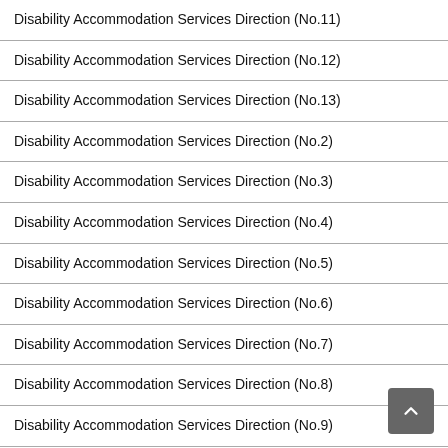Disability Accommodation Services Direction (No.11)
Disability Accommodation Services Direction (No.12)
Disability Accommodation Services Direction (No.13)
Disability Accommodation Services Direction (No.2)
Disability Accommodation Services Direction (No.3)
Disability Accommodation Services Direction (No.4)
Disability Accommodation Services Direction (No.5)
Disability Accommodation Services Direction (No.6)
Disability Accommodation Services Direction (No.7)
Disability Accommodation Services Direction (No.8)
Disability Accommodation Services Direction (No.9)